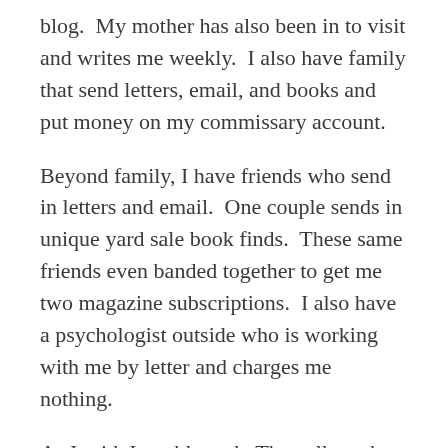blog.  My mother has also been in to visit and writes me weekly.  I also have family that send letters, email, and books and put money on my commissary account.
Beyond family, I have friends who send in letters and email.  One couple sends in unique yard sale book finds.  These same friends even banded together to get me two magazine subscriptions.  I also have a psychologist outside who is working with me by letter and charges me nothing.
As I said, I am blessed.  They all reach out to me while I reside in this physical prison.  They do so regardless of the situation they themselves live within, and they ask me nothing in...